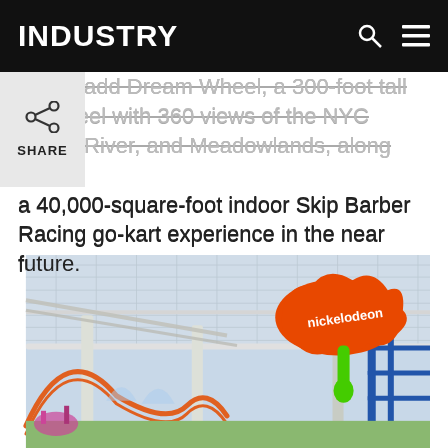INDUSTRY
ans to add Dream Wheel, a 300-foot tall on wheel with 360 views of the NYC udson River, and Meadowlands, along with a 40,000-square-foot indoor Skip Barber Racing go-kart experience in the near future.
[Figure (photo): Interior of Nickelodeon Universe indoor theme park at American Dream mall, showing roller coaster tracks, glass ceiling, structural columns, and a large orange Nickelodeon splat logo balloon with green slime drip.]